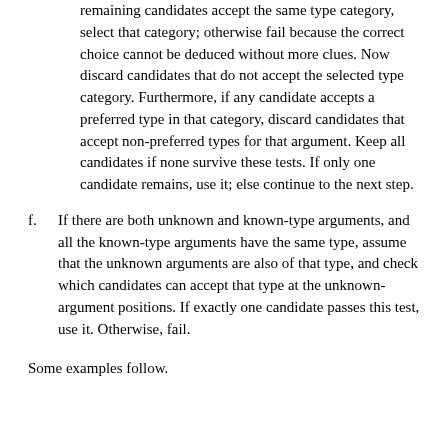remaining candidates accept the same type category, select that category; otherwise fail because the correct choice cannot be deduced without more clues. Now discard candidates that do not accept the selected type category. Furthermore, if any candidate accepts a preferred type in that category, discard candidates that accept non-preferred types for that argument. Keep all candidates if none survive these tests. If only one candidate remains, use it; else continue to the next step.
f. If there are both unknown and known-type arguments, and all the known-type arguments have the same type, assume that the unknown arguments are also of that type, and check which candidates can accept that type at the unknown-argument positions. If exactly one candidate passes this test, use it. Otherwise, fail.
Some examples follow.